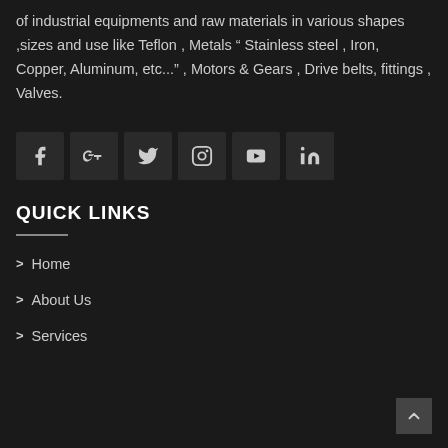of industrial equipments and raw materials in various shapes ,sizes and use like Teflon , Metals " Stainless steel , Iron, Copper, Aluminum, etc..." , Motors & Gears , Drive belts, fittings , Valves.
[Figure (infographic): Row of 6 social media icons: Facebook, Google+, Twitter, Instagram, YouTube, LinkedIn — each in a dark square button]
QUICK LINKS
Home
About Us
Services